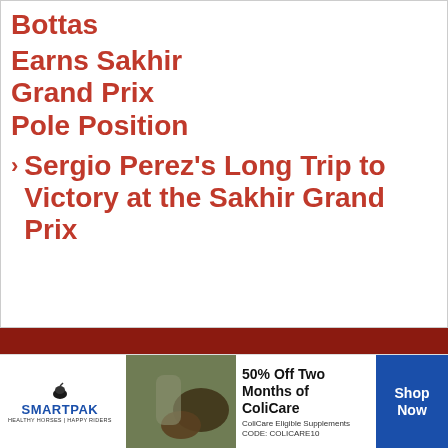Bottas Earns Sakhir Grand Prix Pole Position
Sergio Perez's Long Trip to Victory at the Sakhir Grand Prix
[Figure (infographic): SmartPak advertisement banner: 50% Off Two Months of ColiCare, ColiCare Eligible Supplements, CODE: COLICARE10. Features SmartPak logo, horse and person image, and Shop Now button.]